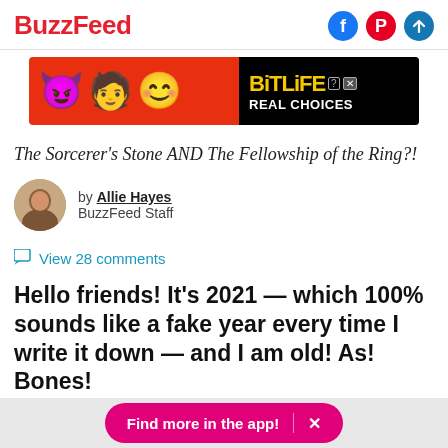BuzzFeed
[Figure (illustration): BuzzFeed advertisement banner for BitLife game with emoji characters and text 'REAL CHOICES']
The Sorcerer's Stone AND The Fellowship of the Ring?!
by Allie Hayes
BuzzFeed Staff
View 28 comments
Hello friends! It's 2021 — which 100% sounds like a fake year every time I write it down — and I am old! As! Bones!
Find more in the app!